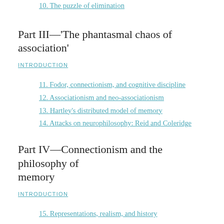10. The puzzle of elimination
Part III—'The phantasmal chaos of association'
INTRODUCTION
11. Fodor, connectionism, and cognitive discipline
12. Associationism and neo-associationism
13. Hartley's distributed model of memory
14. Attacks on neurophilosophy: Reid and Coleridge
Part IV—Connectionism and the philosophy of memory
INTRODUCTION
15. Representations, realism, and history
16. Attacks on traces
17. Order, confusion, remembering